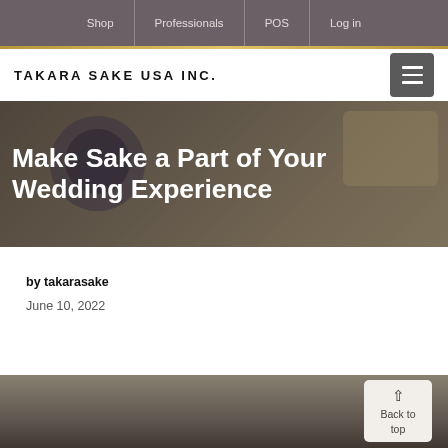Shop | Professionals | POS | Log in
TAKARA SAKE USA INC.
[Figure (photo): Hero background image showing a sake bowl with rice grains, overlaid with large white bold text reading 'Make Sake a Part of Your Wedding Experience']
by takarasake
June 10, 2022
[Figure (photo): Partial bottom image showing a wedding-themed photograph, partially cropped at the bottom of the page. A 'Back to top' button with an upward arrow is overlaid in the bottom-right corner.]